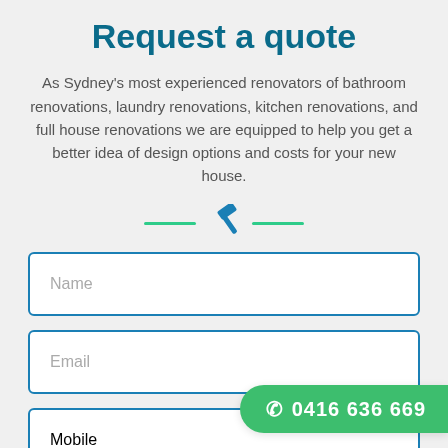Request a quote
As Sydney's most experienced renovators of bathroom renovations, laundry renovations, kitchen renovations, and full house renovations we are equipped to help you get a better idea of design options and costs for your new house.
[Figure (illustration): Decorative divider with green horizontal lines and a blue hammer icon in the center]
Name
Email
Mobile
0416 636 669